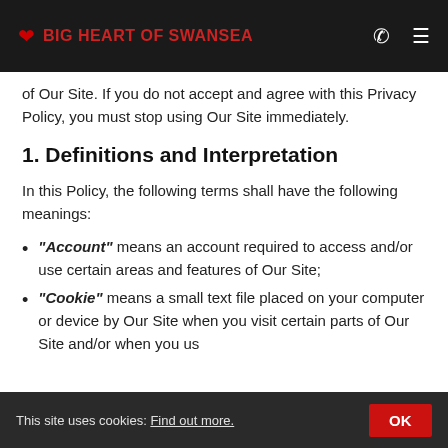BIG HEART OF SWANSEA
of Our Site. If you do not accept and agree with this Privacy Policy, you must stop using Our Site immediately.
1. Definitions and Interpretation
In this Policy, the following terms shall have the following meanings:
"Account" means an account required to access and/or use certain areas and features of Our Site;
"Cookie" means a small text file placed on your computer or device by Our Site when you visit certain parts of Our Site and/or when you us…
This site uses cookies: Find out more. OK